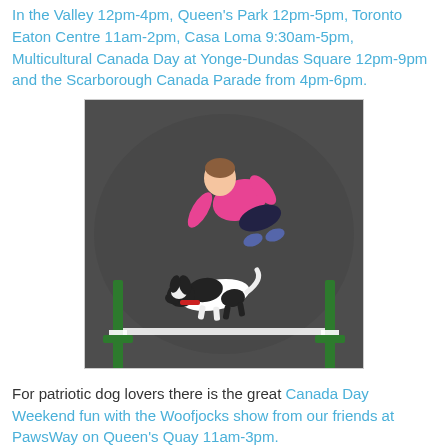In the Valley 12pm-4pm, Queen's Park 12pm-5pm, Toronto Eaton Centre 11am-2pm, Casa Loma 9:30am-5pm, Multicultural Canada Day at Yonge-Dundas Square 12pm-9pm and the Scarborough Canada Parade from 4pm-6pm.
[Figure (photo): Overhead view of a young girl in a pink shirt and dark pants crouching to direct a small black and white dog wearing a red collar through green agility hurdles on a dark floor.]
For patriotic dog lovers there is the great Canada Day Weekend fun with the Woofjocks show from our friends at PawsWay on Queen's Quay 11am-3pm.
Baseball lovers can visit the Blue Jays Street Festival before the game, just outside Rogers Centre before the 3:07pm game.